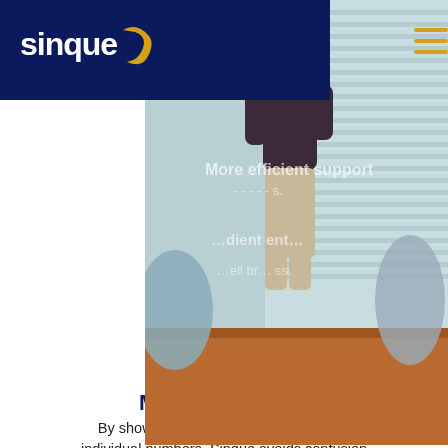sinque
[Figure (photo): A person standing at a conference room table with chairs, viewed from behind, with glass walls and venetian blinds in the background. Overlaid text reads: More efficient support, and small businesses.]
More motivation
By showing the weight range instead of individual numbers, Sinque avoids confusion and frustration with fluctuating weight, motivating your clients to monitor their weight and follow their program.